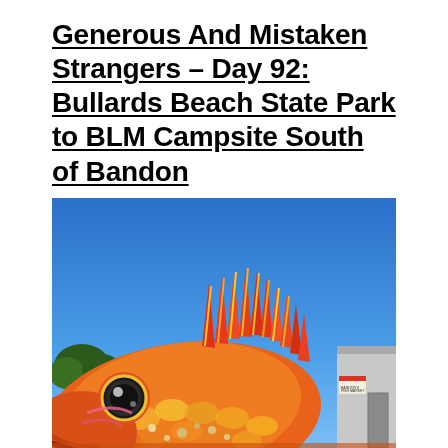Generous And Mistaken Strangers – Day 92: Bullards Beach State Park to BLM Campsite South of Bandon
[Figure (photo): A large colorful fish sculpture made from recycled/reclaimed materials — surfboards, plastic items, and other debris — with red, orange, yellow, and pink colors. The giant fish head faces left, showing a large eye and spiky dorsal fin. Set against a bright blue sky, with trees on the left and a building on the right. A small sign on the building reads 'Bandon Fish Market'.]